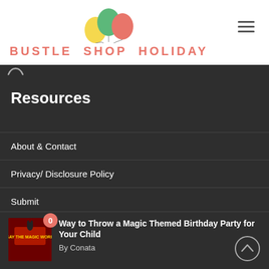[Figure (logo): Bustle Shop Holiday logo with three balloons (yellow, green, red) above the text]
Resources
About & Contact
Privacy/ Disclosure Policy
Submit
[Figure (photo): Thumbnail image of a magic themed birthday party with red background]
Way to Throw a Magic Themed Birthday Party for Your Child
By Conata